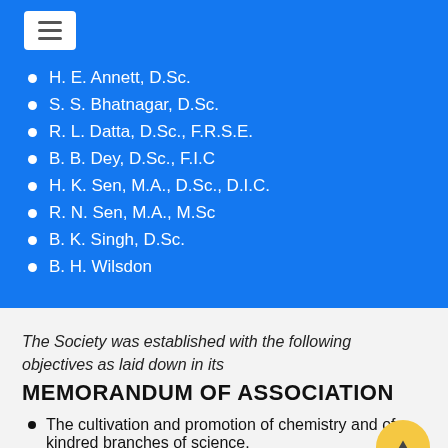H. E. Annett, D.Sc.
S. S. Bhatnagar, D.Sc.
R. L. Datta, D.Sc., F.R.S.E.
B. B. Dey, D.Sc., F.I.C
H. K. Sen, M.A., D.Sc., D.I.C.
R. N. Sen, M.A., M.Sc
B. K. Singh, D.Sc.
B. H. Wilsdon
The Society was established with the following objectives as laid down in its
MEMORANDUM OF ASSOCIATION
The cultivation and promotion of chemistry and of kindred branches of science.